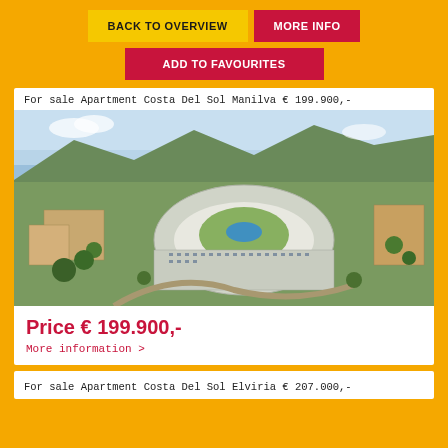BACK TO OVERVIEW
MORE INFO
ADD TO FAVOURITES
For sale Apartment Costa Del Sol Manilva € 199.900,-
[Figure (photo): Aerial photograph of a large curved modern apartment complex near the Costa Del Sol coastline, surrounded by green hills and other residential buildings, with the sea visible in the background.]
Price € 199.900,-
More information >
For sale Apartment Costa Del Sol Elviria € 207.000,-